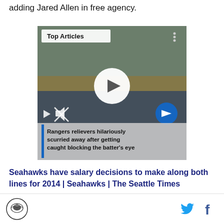adding Jared Allen in free agency.
[Figure (screenshot): Video player thumbnail showing a baseball outfield scene. Overlay reads 'Top Articles' at top left with a three-dot menu at top right. Large white circular play button in center. Bottom left shows a small play icon and a muted speaker icon. Bottom right shows a blue circular arrow/next button. A caption bar at the bottom reads: 'Rangers relievers hilariously scurried away after getting caught blocking the batter's eye' with a blue left border stripe.]
Seahawks have salary decisions to make along both lines for 2014 | Seahawks | The Seattle Times